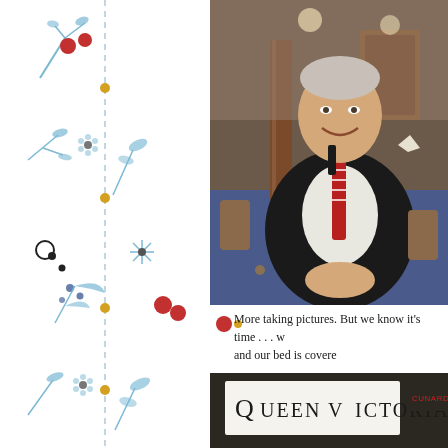[Figure (illustration): Decorative floral border illustration on the left side with blue botanical motifs, red berries/flowers, and a vertical dashed line with gold/orange dots]
[Figure (photo): Photo of a smiling older man in a dark suit with a red striped tie, seated in a padded chair in what appears to be a ship's lounge with blue patterned carpet]
More taking pictures. But we know it's time . . . w and our bed is covere
[Figure (photo): Photo showing a Queen Victoria (Cunard) ship sign/plaque on a dark surface]